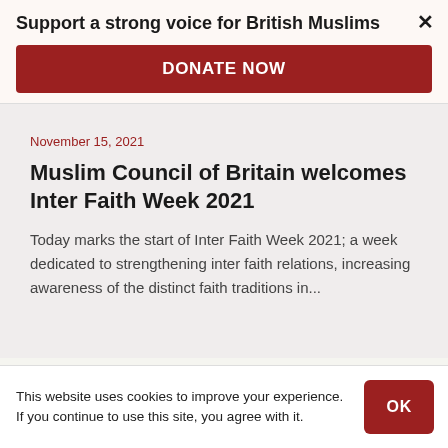Support a strong voice for British Muslims ×
DONATE NOW
November 15, 2021
Muslim Council of Britain welcomes Inter Faith Week 2021
Today marks the start of Inter Faith Week 2021; a week dedicated to strengthening inter faith relations, increasing awareness of the distinct faith traditions in...
This website uses cookies to improve your experience. If you continue to use this site, you agree with it.
OK